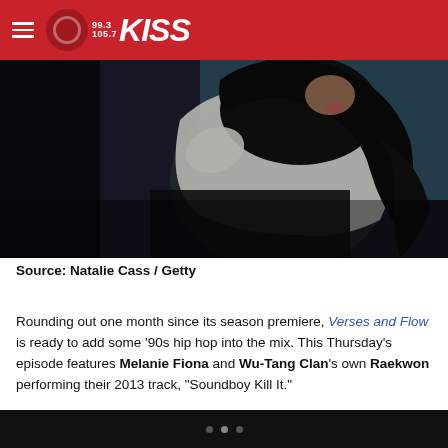99.3 / 105.7 KISS
[Figure (photo): A woman with long dark curly hair wearing a white jacket, photographed from the side/back, on a dark background.]
Source: Natalie Cass / Getty
Rounding out one month since its season premiere, Verses and Flow is ready to add some ‘90s hip hop into the mix. This Thursday’s episode features Melanie Fiona and Wu-Tang Clan’s own Raekwon performing their 2013 track, “Soundboy Kill It.”